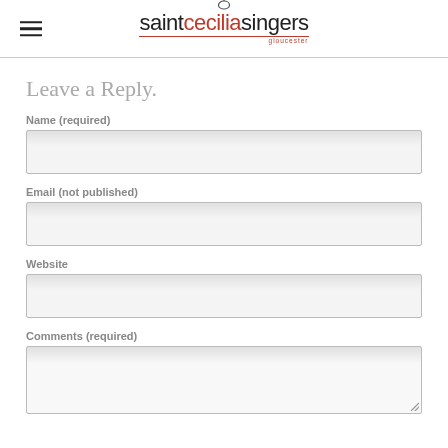saint cecilia singers gloucester
Leave a Reply.
Name (required)
Email (not published)
Website
Comments (required)